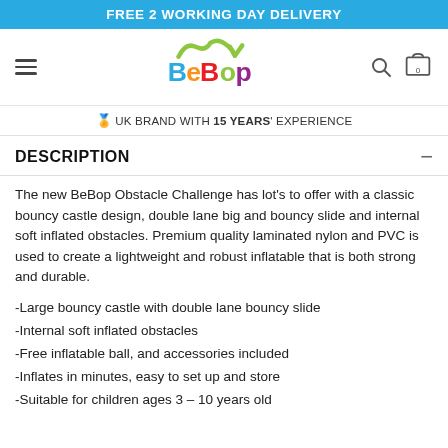FREE 2 WORKING DAY DELIVERY
[Figure (logo): BeBop logo with colorful letters and green wavy checkmark graphic above]
🏅 UK BRAND WITH 15 YEARS' EXPERIENCE
DESCRIPTION
The new BeBop Obstacle Challenge has lot's to offer with a classic bouncy castle design, double lane big and bouncy slide and internal soft inflated obstacles. Premium quality laminated nylon and PVC is used to create a lightweight and robust inflatable that is both strong and durable.
-Large bouncy castle with double lane bouncy slide
-Internal soft inflated obstacles
-Free inflatable ball, and accessories included
-Inflates in minutes, easy to set up and store
-Suitable for children ages 3 – 10 years old